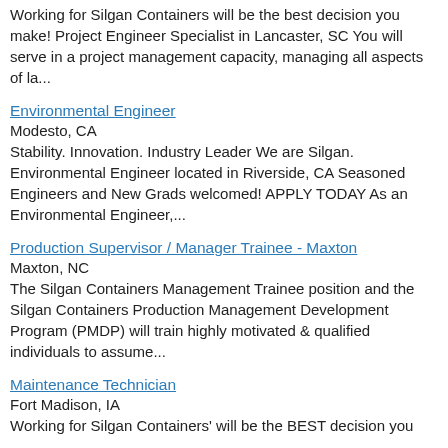Working for Silgan Containers will be the best decision you make! Project Engineer Specialist in Lancaster, SC You will serve in a project management capacity, managing all aspects of la...
Environmental Engineer
Modesto, CA
Stability. Innovation. Industry Leader We are Silgan. Environmental Engineer located in Riverside, CA Seasoned Engineers and New Grads welcomed! APPLY TODAY As an Environmental Engineer,...
Production Supervisor / Manager Trainee - Maxton
Maxton, NC
The Silgan Containers Management Trainee position and the Silgan Containers Production Management Development Program (PMDP) will train highly motivated & qualified individuals to assume...
Maintenance Technician
Fort Madison, IA
Working for Silgan Containers' will be the BEST decision you